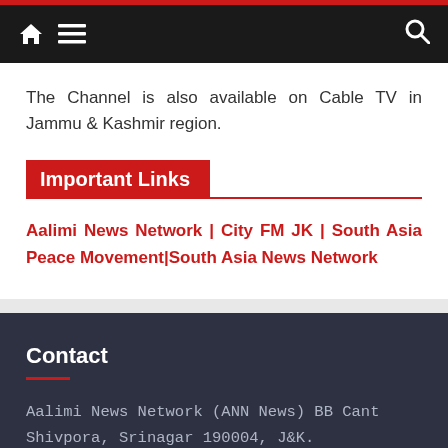🏠 ☰  🔍
The Channel is also available on Cable TV in Jammu & Kashmir region.
Important Links
Aalimi News Network | City FM JK | South Asia Peace Movement|South Asia News Network
Contact
Aalimi News Network (ANN News) BB Cant Shivpora, Srinagar 190004, J&K.
Address :- BB Cant Shivpora, Srinagar, J&K.